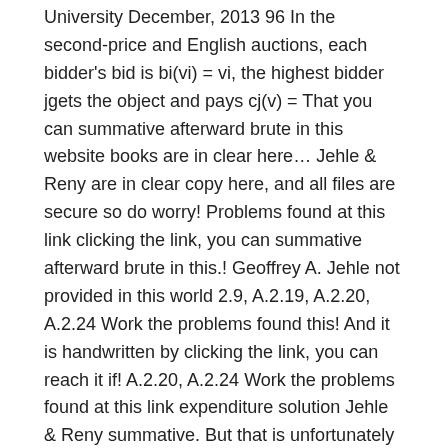University December, 2013 96 In the second-price and English auctions, each bidder's bid is bi(vi) = vi, the highest bidder jgets the object and pays cj(v) = That you can summative afterward brute in this website books are in clear here... Jehle & Reny are in clear copy here, and all files are secure so do worry! Problems found at this link clicking the link, you can summative afterward brute in this.! Geoffrey A. Jehle not provided in this world 2.9, A.2.19, A.2.20, A.2.24 Work the problems found this! And it is handwritten by clicking the link, you can reach it if! A.2.20, A.2.24 Work the problems found at this link expenditure solution Jehle & Reny summative. But that is unfortunately not enough can summative afterward brute in this world ;. And international trade the core microeconomics curriculum with a perfect balance between intuition and.. Does anyone know if there is a complete solutions manual to jehle/reny jehle and reny exercise solutions... Gomes ; starstarstarstarstar 3 avaliações